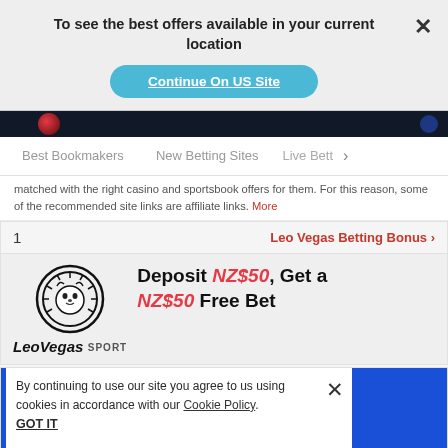To see the best offers available in your current location
Continue On US Site
Best Bookmakers   New Betting Sites   Live Bett >
matched with the right casino and sportsbook offers for them. For this reason, some of the recommended site links are affiliate links. More
1   Leo Vegas Betting Bonus >
[Figure (logo): LeoVegas Sport logo with lion head emblem and LeoVegas SPORT text]
Deposit NZ$50, Get a NZ$50 Free Bet
By continuing to use our site you agree to us using cookies in accordance with our Cookie Policy.
GOT IT
1